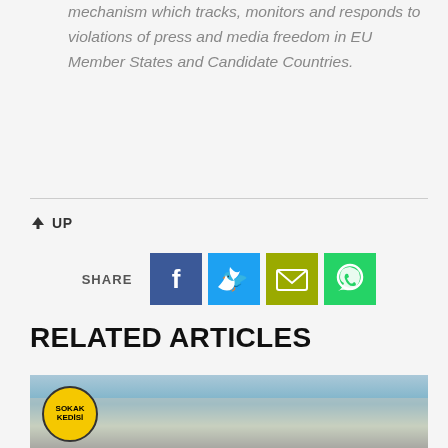mechanism which tracks, monitors and responds to violations of press and media freedom in EU Member States and Candidate Countries.
↑ UP
[Figure (infographic): Social share buttons: Facebook (blue), Twitter (cyan), Email (olive/yellow-green), WhatsApp (green), with SHARE label]
RELATED ARTICLES
[Figure (photo): Photo of a building with a yellow circular Sokak Kedisi logo badge in the bottom left corner]